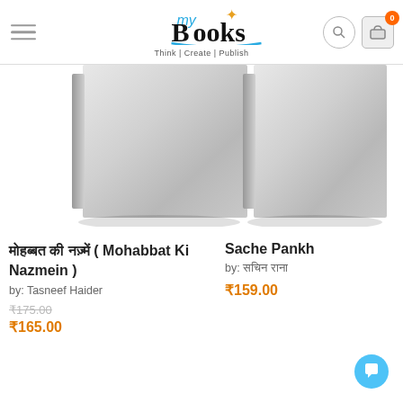myBooks — Think | Create | Publish
[Figure (photo): Left book cover — gray/silver generic book cover with spine shadow]
मोहब्बत की नज़्में ( Mohabbat Ki Nazmein ) by: Tasneef Haider ₹175.00 ₹165.00
[Figure (photo): Right book cover — gray/silver generic book cover with spine shadow]
Sache Pankh by: सचिन राना ₹159.00